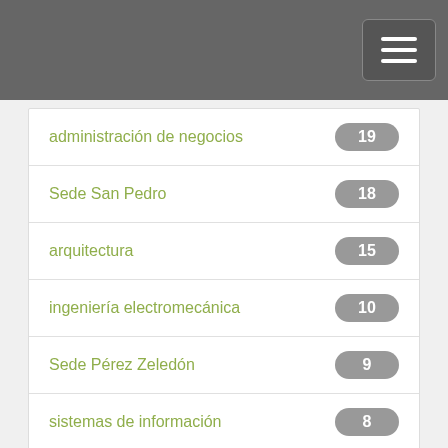administración de negocios 19
Sede San Pedro 18
arquitectura 15
ingeniería electromecánica 10
Sede Pérez Zeledón 9
sistemas de información 8
alcantarillado pluvial 7
next >